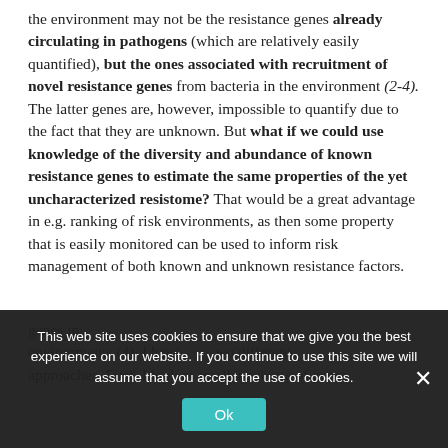the environment may not be the resistance genes already circulating in pathogens (which are relatively easily quantified), but the ones associated with recruitment of novel resistance genes from bacteria in the environment (2-4). The latter genes are, however, impossible to quantify due to the fact that they are unknown. But what if we could use knowledge of the diversity and abundance of known resistance genes to estimate the same properties of the yet uncharacterized resistome? That would be a great advantage in e.g. ranking of risk environments, as then some property that is easily monitored can be used to inform risk management of both known and unknown resistance factors.
This web site uses cookies to ensure that we give you the best experience on our website. If you continue to use this site we will assume that you accept the use of cookies.